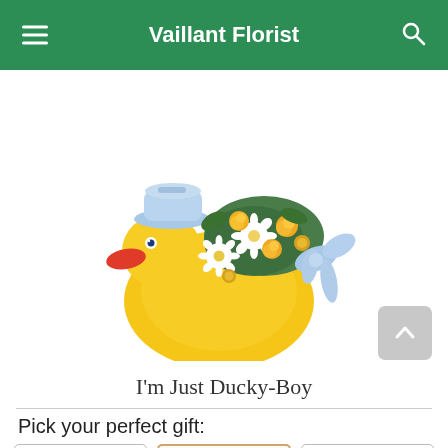Vaillant Florist
[Figure (photo): A ceramic rubber duck shaped vase/container, yellow colored, wearing a light blue sailor hat, filled with an arrangement of white daisies, yellow roses, and small yellow button flowers, with a light blue ribbon bow.]
I'm Just Ducky-Boy
Pick your perfect gift: